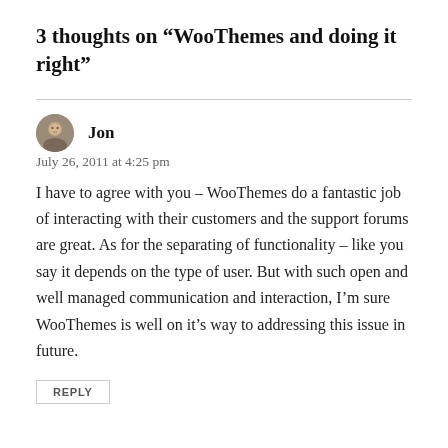3 thoughts on “WooThemes and doing it right”
Jon
July 26, 2011 at 4:25 pm
I have to agree with you – WooThemes do a fantastic job of interacting with their customers and the support forums are great. As for the separating of functionality – like you say it depends on the type of user. But with such open and well managed communication and interaction, I’m sure WooThemes is well on it’s way to addressing this issue in future.
REPLY